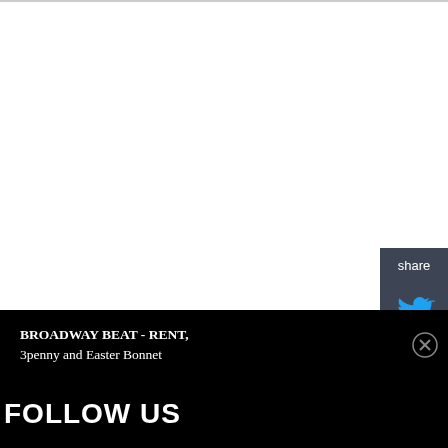[Figure (screenshot): White content area with a top border line, representing a webpage main content region]
[Figure (infographic): Share panel with dark blue-gray background containing 'share' label, Twitter bird icon, and Facebook circle icon]
BROADWAY BEAT - RENT, 3penny and Easter Bonnet
FOLLOW US